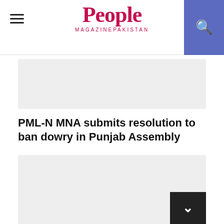People Magazine Pakistan
[Figure (other): Gray placeholder image rectangle at top of article]
PML-N MNA submits resolution to ban dowry in Punjab Assembly
[Figure (other): Gray placeholder image rectangle below article title]